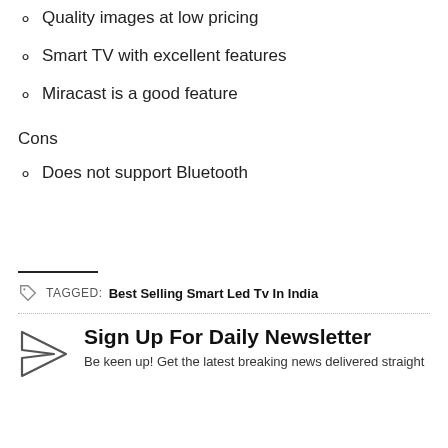Quality images at low pricing
Smart TV with excellent features
Miracast is a good feature
Cons
Does not support Bluetooth
TAGGED: Best Selling Smart Led Tv In India
Sign Up For Daily Newsletter
Be keen up! Get the latest breaking news delivered straight